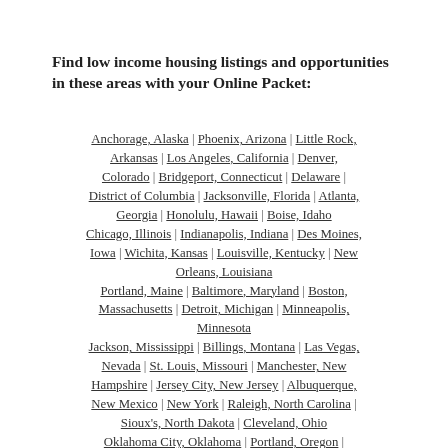Find low income housing listings and opportunities in these areas with your Online Packet:
Anchorage, Alaska | Phoenix, Arizona | Little Rock, Arkansas | Los Angeles, California | Denver, Colorado | Bridgeport, Connecticut | Delaware | District of Columbia | Jacksonville, Florida | Atlanta, Georgia | Honolulu, Hawaii | Boise, Idaho Chicago, Illinois | Indianapolis, Indiana | Des Moines, Iowa | Wichita, Kansas | Louisville, Kentucky | New Orleans, Louisiana Portland, Maine | Baltimore, Maryland | Boston, Massachusetts | Detroit, Michigan | Minneapolis, Minnesota Jackson, Mississippi | Billings, Montana | Las Vegas, Nevada | St. Louis, Missouri | Manchester, New Hampshire | Jersey City, New Jersey | Albuquerque, New Mexico | New York | Raleigh, North Carolina | Sioux's, North Dakota | Cleveland, Ohio Oklahoma City, Oklahoma | Portland, Oregon | Philadelphia, Pennsylvania | Rhode Island | Columbia, South Carolina